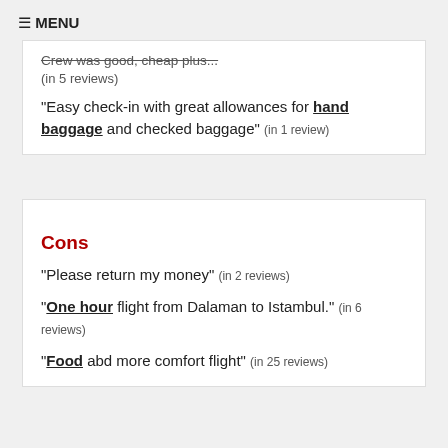≡ MENU
Crew was good, cheap plus... (in 5 reviews)
"Easy check-in with great allowances for hand baggage and checked baggage" (in 1 review)
Cons
"Please return my money" (in 2 reviews)
"One hour flight from Dalaman to Istambul." (in 6 reviews)
"Food abd more comfort flight" (in 25 reviews)